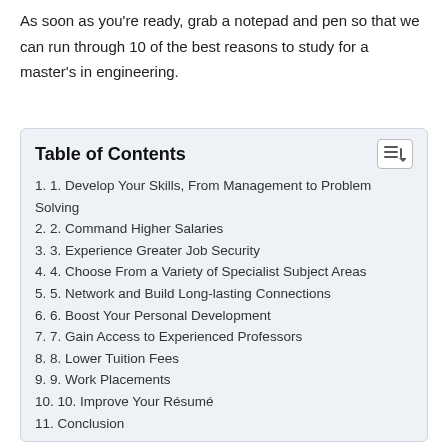As soon as you're ready, grab a notepad and pen so that we can run through 10 of the best reasons to study for a master's in engineering.
| # | Item |
| --- | --- |
| 1. | 1. Develop Your Skills, From Management to Problem Solving |
| 2. | 2. Command Higher Salaries |
| 3. | 3. Experience Greater Job Security |
| 4. | 4. Choose From a Variety of Specialist Subject Areas |
| 5. | 5. Network and Build Long-lasting Connections |
| 6. | 6. Boost Your Personal Development |
| 7. | 7. Gain Access to Experienced Professors |
| 8. | 8. Lower Tuition Fees |
| 9. | 9. Work Placements |
| 10. | 10. Improve Your Résumé |
| 11. | Conclusion |